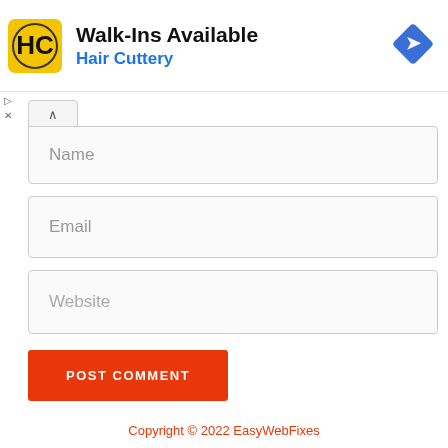[Figure (logo): Hair Cuttery ad banner with HC logo, 'Walk-Ins Available' headline, and a blue navigation icon]
Name
Email
Website
POST COMMENT
Copyright © 2022 EasyWebFixes